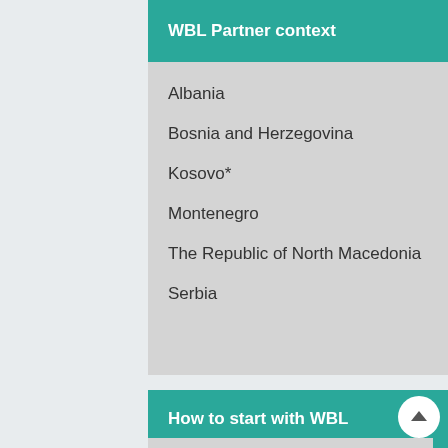WBL Partner context
Albania
Bosnia and Herzegovina
Kosovo*
Montenegro
The Republic of North Macedonia
Serbia
How to start with WBL
WBL for schools – How to start